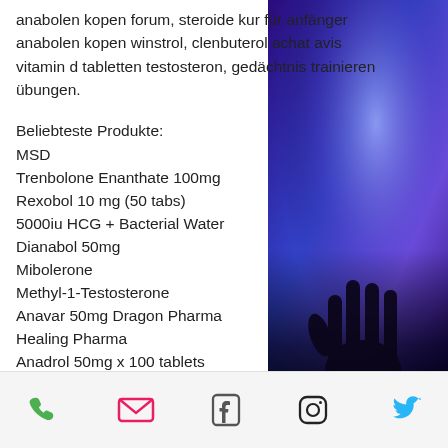anabolen kopen forum, steroide kur für anfänger anabolen kopen winstrol, clenbuterol achat avis vitamin d tabletten testosteron, gedächtnis trainieren übungen.
Beliebteste Produkte:
MSD
Trenbolone Enanthate 100mg
Rexobol 10 mg (50 tabs)
5000iu HCG + Bacterial Water
Dianabol 50mg
Mibolerone
Methyl-1-Testosterone
Anavar 50mg Dragon Pharma
Healing Pharma
Anadrol 50mg x 100 tablets
Medichem Labs
ANADROL 50 mg (100 tabs)
Para Pharma International
[Figure (photo): Purple/blue concert lighting with a raised hand silhouette on the right side of the page]
Phone icon, Email icon, Facebook icon, Instagram icon, Twitter icon